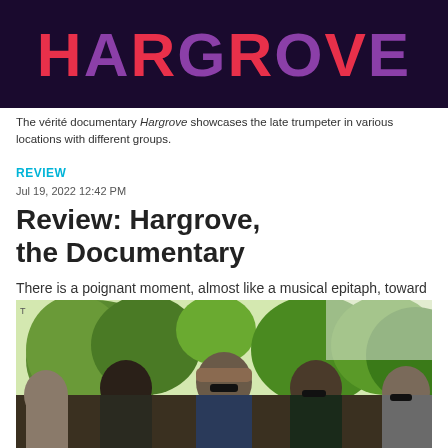[Figure (photo): Hargrove documentary logo/title card with stylized text 'HARGROVE' in red and purple letters on dark background]
The vérité documentary Hargrove showcases the late trumpeter in various locations with different groups.
REVIEW
Jul 19, 2022 12:42 PM
Review: Hargrove, the Documentary
There is a poignant moment, almost like a musical epitaph, toward the end of Hargrove, a documentary of the late...
[Figure (photo): Group photo of five people outdoors with trees in background]